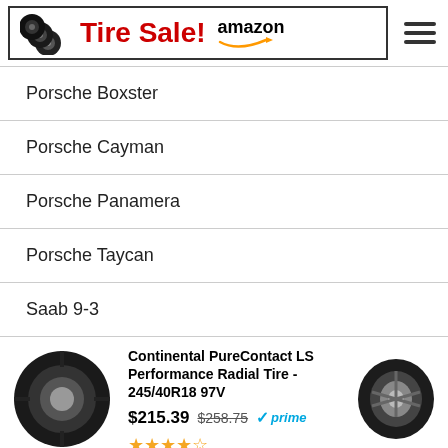[Figure (screenshot): Tire Sale banner with stacked tire icon, red bold 'Tire Sale!' text, Amazon logo with orange smile, inside a black border box. Hamburger menu icon on the right.]
Porsche Boxster
Porsche Cayman
Porsche Panamera
Porsche Taycan
Saab 9-3
[Figure (photo): Product listing for Continental PureContact LS Performance Radial Tire - 245/40R18 97V, priced at $215.39 (was $258.75), Amazon Prime eligible, 4.5 star rating, with tire photos on left and right.]